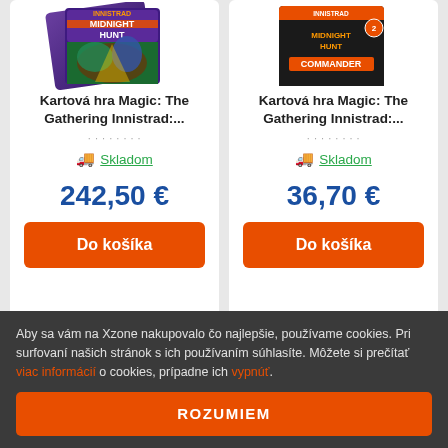[Figure (screenshot): Product card image: Kartová hra Magic: The Gathering Innistrad: Midnight Hunt booster box]
Kartová hra Magic: The Gathering Innistrad:…
Skladom
242,50 €
Do košíka
[Figure (screenshot): Product card image: Kartová hra Magic: The Gathering Innistrad: Midnight Hunt Commander deck box]
Kartová hra Magic: The Gathering Innistrad:…
Skladom
36,70 €
Do košíka
Aby sa vám na Xzone nakupovalo čo najlepšie, používame cookies. Pri surfovaní našich stránok s ich používaním súhlasíte. Môžete si prečítať viac informácií o cookies, prípadne ich vypnúť.
ROZUMIEM